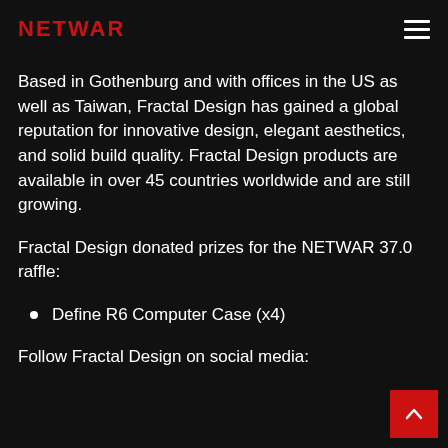NETWAR
Based in Gothenburg and with offices in the US as well as Taiwan, Fractal Design has gained a global reputation for innovative design, elegant aesthetics, and solid build quality. Fractal Design products are available in over 45 countries worldwide and are still growing.
Fractal Design donated prizes for the NETWAR 37.0 raffle:
Define R6 Computer Case (x4)
Follow Fractal Design on social media: